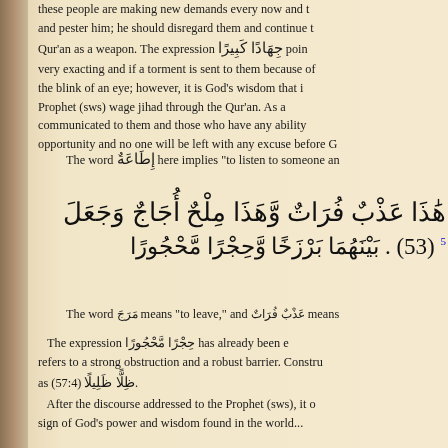these people are making new demands every now and then to annoy and pester him; he should disregard them and continue to use the Qur'an as a weapon. The expression جِهَادًا كَبِيرًا points out that God is very exacting and if a torment is sent to them because of his prayer, it can come in the blink of an eye; however, it is God's wisdom that in this very life the Prophet (sws) wage jihad through the Qur'an. As a result, the truth will be communicated to them and those who have any ability to understand will get the opportunity and no one will be left with any excuse before God.
The word إِطَاعَةٌ here implies "to listen to someone an..."
وَهَذَا مِاءٌ أُجَاجٌ وَجَعَلَ بَيْنَهُمَا بَرْزَخًا وَحِجْرًا مَّحْجُورًا . (53)
The word مَرَجَ means "to leave," and عَذْبٌ فُرَاتٌ means...
The expression حِجْرًا مَّحْجُورًا has already been explained. It refers to a strong obstruction and a robust barrier. Constructions such as (57:4) ظِلًّا ظَلِيلًا.
After the discourse addressed to the Prophet (sws), it o... sign of God's power and wisdom found in the world...